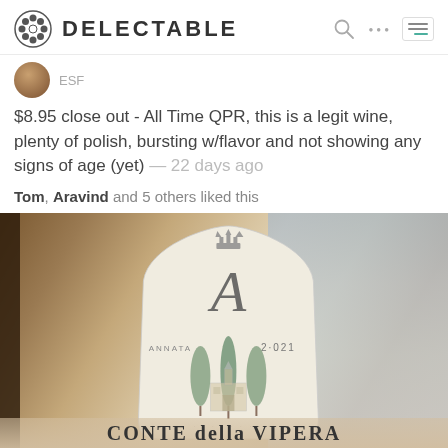DELECTABLE
ESF
$8.95 close out - All Time QPR, this is a legit wine, plenty of polish, bursting w/flavor and not showing any signs of age (yet) — 22 days ago
Tom, Aravind and 5 others liked this
[Figure (photo): Close-up photo of Conte della Vipera wine bottle label showing a large decorative 'A', the text 'ANNATA 2021', an illustrated estate with cypress trees, and 'CONTE della VIPERA' at the bottom]